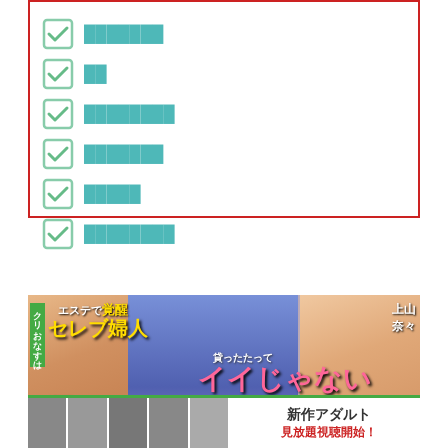✓ ███████
✓ ██
✓ ████████
✓ ███████
✓ █████
✓ ████████
[Figure (photo): Adult content advertisement banner with Japanese text: エステで覚醒 セレブ婦人 瀬田まい / 貸ったたって イイじゃない / 上山奈々]
[Figure (photo): Bottom section: 新作アダルト with thumbnail images strip and additional text]